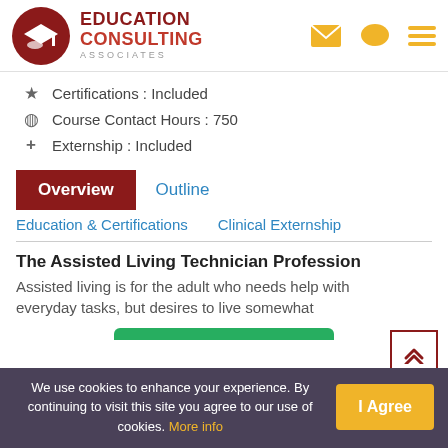[Figure (logo): Education Consulting Associates logo with graduation cap in dark red circle, EDUCATION CONSULTING text in red/dark red, ASSOCIATES in gray spaced letters, with yellow envelope, chat bubble, and hamburger menu icons on right]
Certifications : Included
Course Contact Hours : 750
Externship : Included
Overview   Outline
Education & Certifications   Clinical Externship
The Assisted Living Technician Profession
Assisted living is for the adult who needs help with everyday tasks, but desires to live somewhat
We use cookies to enhance your experience. By continuing to visit this site you agree to our use of cookies. More info